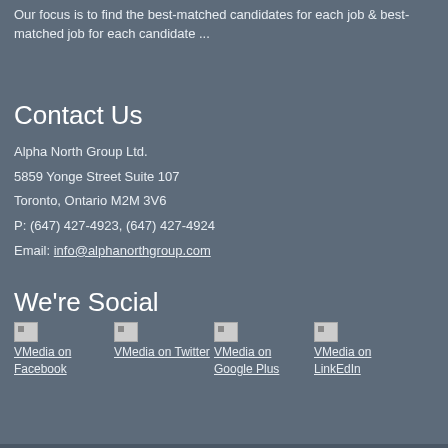Our focus is to find the best-matched candidates for each job & best-matched job for each candidate ...
Contact Us
Alpha North Group Ltd.
5859 Yonge Street Suite 107
Toronto, Ontario M2M 3V6
P: (647) 427-4923, (647) 427-4924
Email: info@alphanorthgroup.com
We're Social
[Figure (other): Four social media icon links with broken image placeholders for VMedia on Facebook, VMedia on Twitter, VMedia on Google Plus, VMedia on LinkEdIn]